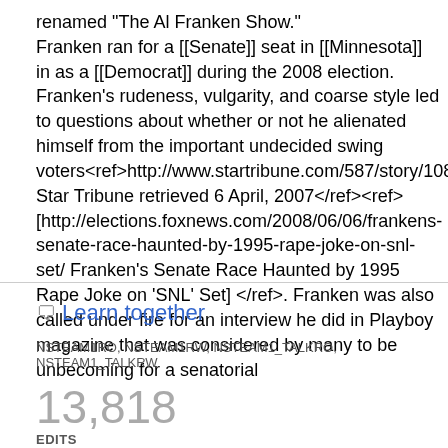renamed "The Al Franken Show." Franken ran for a [[Senate]] seat in [[Minnesota]] in as a [[Democrat]] during the 2008 election. Franken's rudeness, vulgarity, and coarse style led to questions about whether or not he alienated himself from the important undecided swing voters<ref>http://www.startribune.com/587/story/1083904.htm Star Tribune retrieved 6 April, 2007</ref><ref>[http://elections.foxnews.com/2008/06/06/frankens-senate-race-haunted-by-1995-rape-joke-on-snl-set/ Franken's Senate Race Haunted by 1995 Rape Joke on 'SNL' Set]</ref>. Franken was also called under fire for an interview he did in Playboy magazine that was considered by many to be unbecoming for a senatorial
Learn together
NSTEAM1RO, NSTEAM1RW, NSTEAM1_TALKRO, NSTEAM1_TALKRW
13,818 EDITS